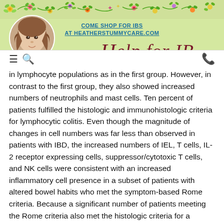COME SHOP FOR IBS AT HEATHERSTUMMYCARE.COM
[Figure (logo): Help for IBS logo with decorative script font and floral header banner with profile photo]
in lymphocyte populations as in the first group. However, in contrast to the first group, they also showed increased numbers of neutrophils and mast cells. Ten percent of patients fulfilled the histologic and immunohistologic criteria for lymphocytic colitis. Even though the magnitude of changes in cell numbers was far less than observed in patients with IBD, the increased numbers of IEL, T cells, IL-2 receptor expressing cells, suppressor/cytotoxic T cells, and NK cells were consistent with an increased inflammatory cell presence in a subset of patients with altered bowel habits who met the symptom-based Rome criteria. Because a significant number of patients meeting the Rome criteria also met the histologic criteria for a diagnosis of lymphocytic colitis, the findings highlight a major problem with the way we currently diagnose IBS. By definition, the diagnosis of an organic disease such as lymphocytic colitis is inconsistent with a diagnosis of IBS. Furthermore, it is unclear whether the patients met the Rome criteria because of the presence of discomfort (urgency, bloating) relieved by bowel movements, or whether they reported abdominal pain. Using the current